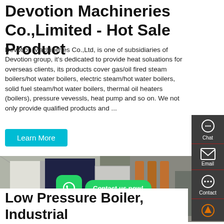Devotion Machineries Co.,Limited - Hot Sale Product
Devotion Machineries Co.,Ltd, is one of subsidiaries of Devotion group, it's dedicated to provide heat soluations for overseas clients, its products cover gas/oil fired steam boilers/hot water boilers, electric steam/hot water boilers, solid fuel steam/hot water boilers, thermal oil heaters (boilers), pressure vevessls, heat pump and so on. We not only provide qualified products and ...
[Figure (photo): Industrial boilers/machinery in a warehouse, with dark blue boiler unit and pipe systems on the right. WhatsApp icon and 'Contact us now!' green bubble overlay, and chat bubble at bottom saying 'Hey, we are live 24/7. How may I help you?']
Low Pressure Boiler, Industrial